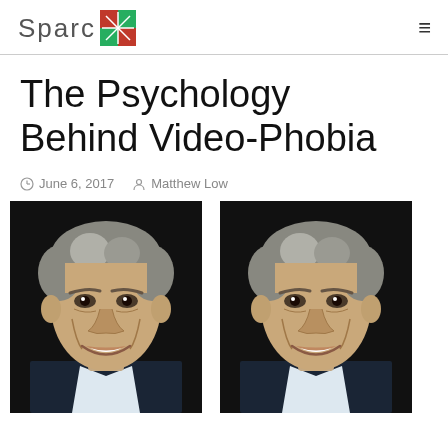Sparc
The Psychology Behind Video-Phobia
June 6, 2017  Matthew Low
[Figure (photo): Two side-by-side portrait photos of a middle-aged man with gray hair, smiling, against a dark background]